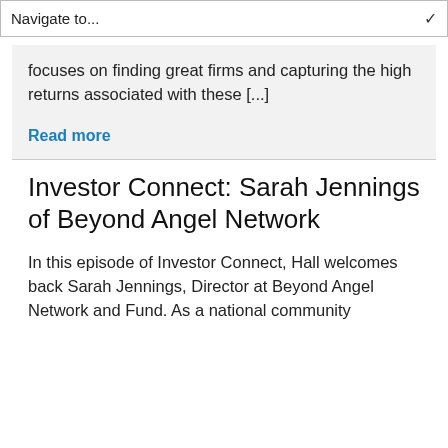Navigate to...
focuses on finding great firms and capturing the high returns associated with these [...]
Read more
Investor Connect: Sarah Jennings of Beyond Angel Network
In this episode of Investor Connect, Hall welcomes back Sarah Jennings, Director at Beyond Angel Network and Fund. As a national community